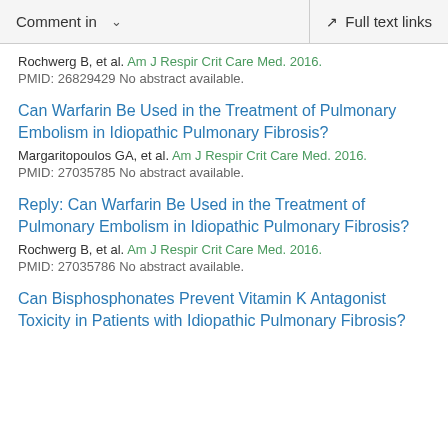Comment in  ∨    Full text links
Rochwerg B, et al. Am J Respir Crit Care Med. 2016.
PMID: 26829429 No abstract available.
Can Warfarin Be Used in the Treatment of Pulmonary Embolism in Idiopathic Pulmonary Fibrosis?
Margaritopoulos GA, et al. Am J Respir Crit Care Med. 2016.
PMID: 27035785 No abstract available.
Reply: Can Warfarin Be Used in the Treatment of Pulmonary Embolism in Idiopathic Pulmonary Fibrosis?
Rochwerg B, et al. Am J Respir Crit Care Med. 2016.
PMID: 27035786 No abstract available.
Can Bisphosphonates Prevent Vitamin K Antagonist Toxicity in Patients with Idiopathic Pulmonary Fibrosis?